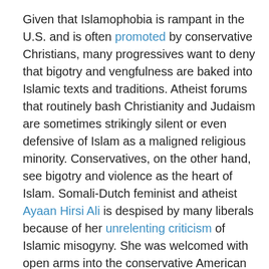Given that Islamophobia is rampant in the U.S. and is often promoted by conservative Christians, many progressives want to deny that bigotry and vengfulness are baked into Islamic texts and traditions. Atheist forums that routinely bash Christianity and Judaism are sometimes strikingly silent or even defensive of Islam as a maligned religious minority. Conservatives, on the other hand, see bigotry and violence as the heart of Islam. Somali-Dutch feminist and atheist Ayaan Hirsi Ali is despised by many liberals because of her unrelenting criticism of Islamic misogyny. She was welcomed with open arms into the conservative American Enterprise Institute – despite her atheism and feminism – for largely the same reason. The enemy of my enemy . . . .

Both of these positions, that Muslim sacred texts are